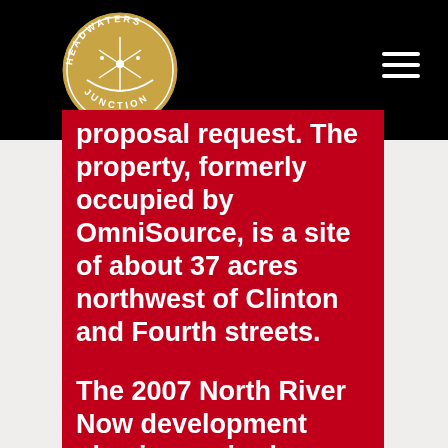[Figure (logo): Headwaters Junction circular logo in gold/tan on black background, with text 'HEADWATERS JUNCTION' around a wheel/spoke design]
proposal request. The property, formerly occupied by OmniSource, is a site of about 37 acres northwest of Clinton and Fourth streets.
The 2007 North River Now development plan is required reading for prospective consultants.